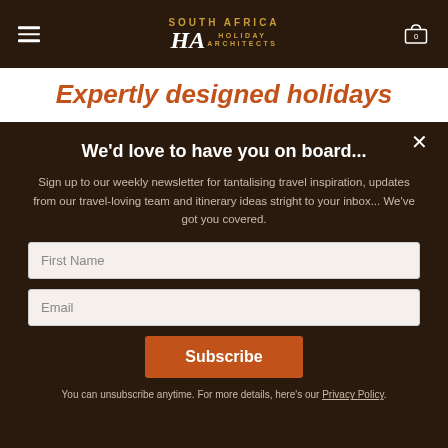South Africa Holiday Architects — navigation bar with logo, hamburger menu, and cart icon
Expertly designed holidays
We'd love to have you on board...
Sign up to our weekly newsletter for tantalising travel inspiration, updates from our travel-loving team and itinerary ideas stright to your inbox... We've got you covered.
First Name
Email
Subscribe
You can unsubscribe anytime. For more details, here's our Privacy Policy.